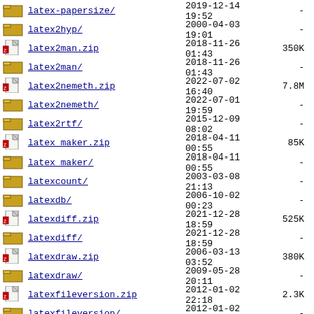latex-papersize/  2019-12-14 19:52  -
latex2hyp/  2000-04-03 19:01  -
latex2man.zip  2018-11-26 01:43  350K
latex2man/  2018-11-26 01:43  -
latex2nemeth.zip  2022-07-02 16:40  7.8M
latex2nemeth/  2022-07-01 19:59  -
latex2rtf/  2015-12-09 08:02  -
latex_maker.zip  2018-04-11 00:55  85K
latex_maker/  2018-04-11 00:55  -
latexcount/  2003-03-08 21:13  -
latexdb/  2006-10-02 00:23  -
latexdiff.zip  2021-12-28 18:59  525K
latexdiff/  2021-12-28 18:59  -
latexdraw.zip  2006-03-13 03:52  380K
latexdraw/  2009-05-28 20:11  -
latexfileversion.zip  2012-01-02 22:18  2.3K
latexfileversion/  2012-01-02 22:18  -
latexindent.zip  2022-06-13 15:46  5.9M